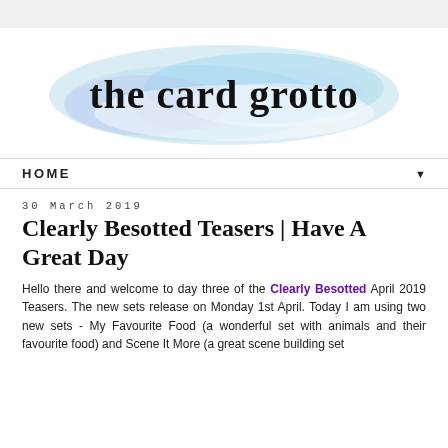[Figure (logo): The Card Grotto blog logo with watercolor background in blue and purple hues, handwritten-style text reading 'the card grotto']
HOME ▼
30 March 2019
Clearly Besotted Teasers | Have A Great Day
Hello there and welcome to day three of the Clearly Besotted April 2019 Teasers. The new sets release on Monday 1st April. Today I am using two new sets - My Favourite Food (a wonderful set with animals and their favourite food) and Scene It More (a great scene building set